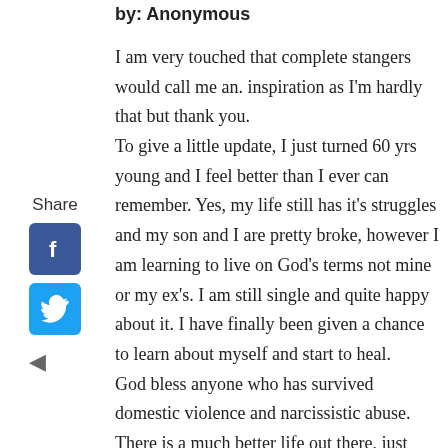by: Anonymous
I am very touched that complete stangers would call me an. inspiration as I'm hardly that but thank you.
To give a little update, I just turned 60 yrs young and I feel better than I ever can remember. Yes, my life still has it's struggles and my son and I are pretty broke, however I am learning to live on God's terms not mine or my ex's. I am still single and quite happy about it. I have finally been given a chance to learn about myself and start to heal.
God bless anyone who has survived domestic violence and narcissistic abuse. There is a much better life out there, just
[Figure (illustration): Sidebar with Share label, Facebook icon (blue square with f), Twitter icon (blue square with bird), and back arrow (left-pointing triangle)]